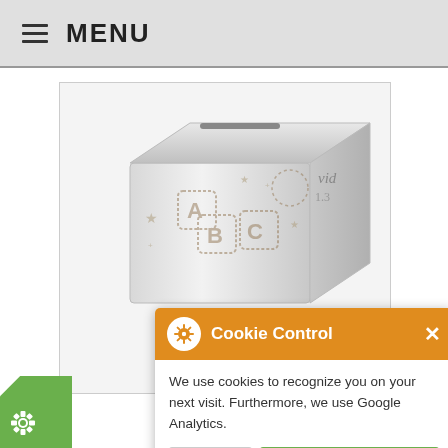MENU
[Figure (photo): Silver nickel-plated square money box with ABC blocks design engraved on the front, with a coin slot on top. Partially overlaid by a Cookie Control popup.]
Cookie Control
We use cookies to recognize you on your next visit. Furthermore, we use Google Analytics.
Cookies are on
about this tool
read More
ABC Personalised Square Money Box - Nickel Plated
Sold Out